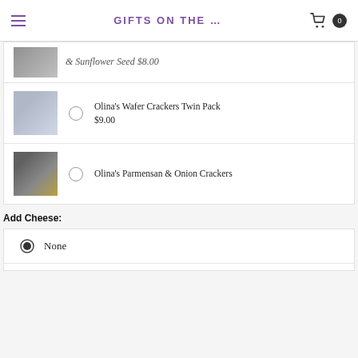GIFTS ON THE …
& Sunflower Seed $8.00
Olina's Wafer Crackers Twin Pack $9.00
Olina's Parmensan & Onion Crackers
Add Cheese:
None